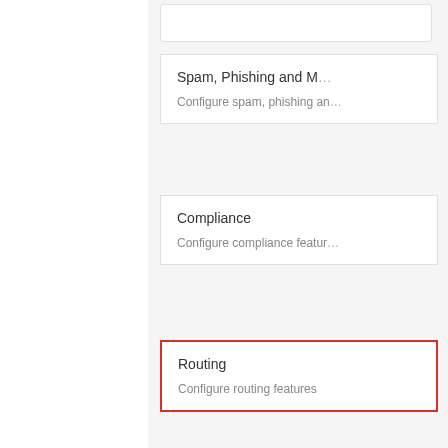[Figure (screenshot): Gmail Admin settings panel showing cards for Spam/Phishing, Compliance, and Routing (highlighted with red border). The Routing card shows title 'Routing' and description 'Configure routing features'.]
8. Select the option to "Configure" in the "Routing" section in Gma…
Fig. 8
[Figure (screenshot): Gmail settings page showing Gmail logo (M icon) with 'Gmail' text and partial text 'Showing settings for us']